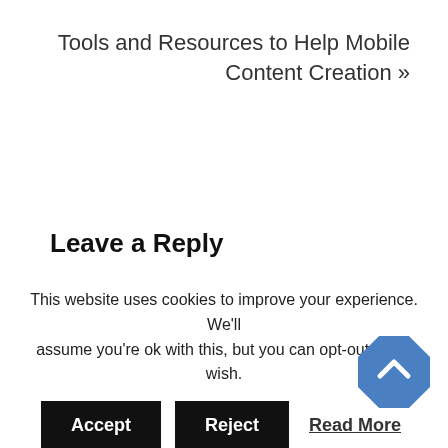Tools and Resources to Help Mobile Content Creation »
Leave a Reply
You must be logged in to post a comment.
This site uses Akismet to reduce spam. Learn how your comment data is processed.
This website uses cookies to improve your experience. We'll assume you're ok with this, but you can opt-out if you wish.
Accept  Reject  Read More